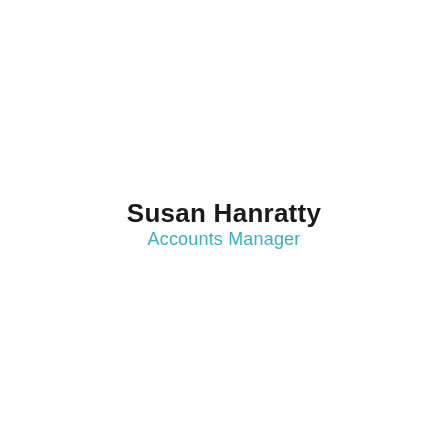Susan Hanratty
Accounts Manager